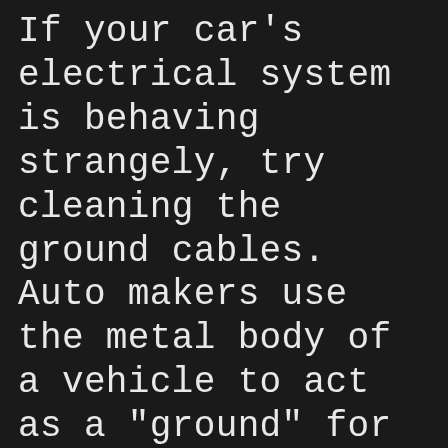If your car's electrical system is behaving strangely, try cleaning the ground cables. Auto makers use the metal body of a vehicle to act as a "ground" for the electrical system. Over time the area where this cable connects to the frame can corrode, causing a stray electrical current that can wreak havoc on your system. This cable is usually connected on the firewall or fender, so simply disconnect it and use a wire brush or sandpaper to clean the contacts.